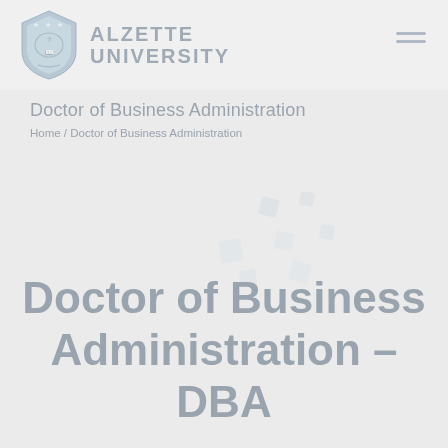[Figure (logo): Alzette University shield logo with crest and stars, alongside the text ALZETTE UNIVERSITY]
Doctor of Business Administration
Home / Doctor of Business Administration
Doctor of Business Administration – DBA